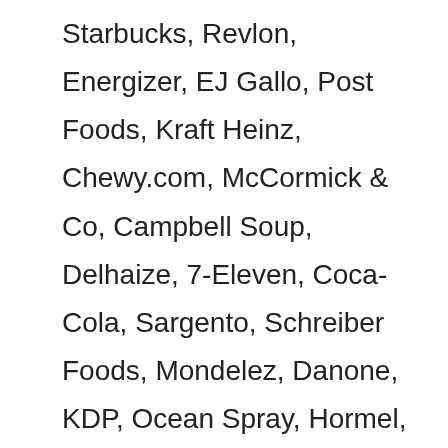Starbucks, Revlon, Energizer, EJ Gallo, Post Foods, Kraft Heinz, Chewy.com, McCormick & Co, Campbell Soup, Delhaize, 7-Eleven, Coca-Cola, Sargento, Schreiber Foods, Mondelez, Danone, KDP, Ocean Spray, Hormel, ConAgra Foods, JM Smucker, Whirlpool, Moen, Continental Mills, Rich Products, Musco Olive, Mckee Foods, Cliff Bar, Red Bull, Pfizer, Welch's, Georgia-Pacific, Philips, Heineken, Mrs. T's Pierogies, Seventh Generation, Nomad Foods, Ferrero, JBSS, Simply Good Foods, Goya, Henkel, Fleet Farm, Labatt, and many